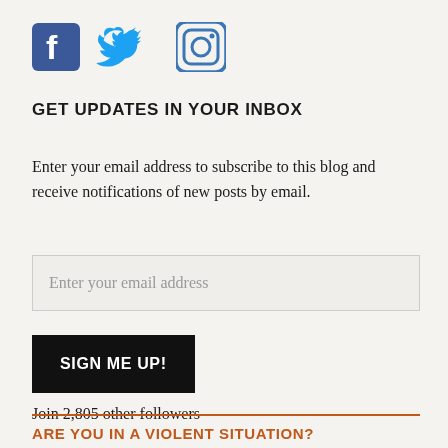[Figure (illustration): Three social media icons: Facebook (blue square with 'f'), Twitter (blue bird), Instagram (camera icon)]
GET UPDATES IN YOUR INBOX
Enter your email address to subscribe to this blog and receive notifications of new posts by email.
Enter your email address
SIGN ME UP!
Join 2,805 other followers
ARE YOU IN A VIOLENT SITUATION?